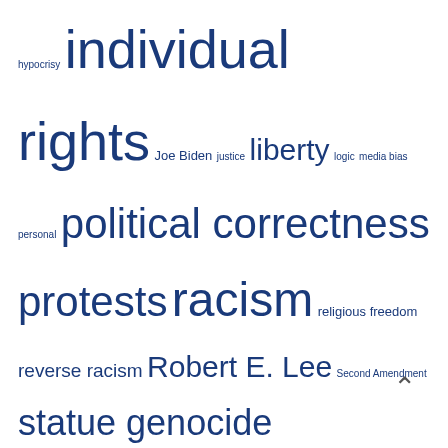hypocrisy individual rights Joe Biden justice liberty logic media bias personal political correctness protests racism religious freedom reverse racism Robert E. Lee Second Amendment statue genocide statues vaccine mandates vaccines vandalism
Meta
Log in
Entries feed
Comments feed